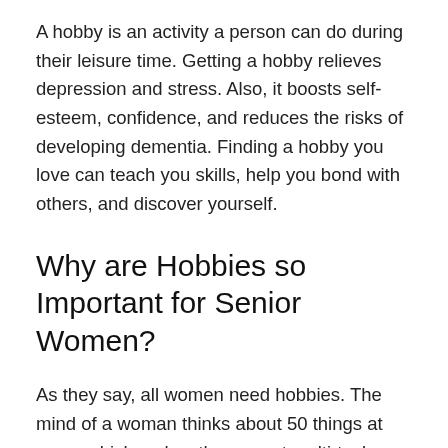A hobby is an activity a person can do during their leisure time. Getting a hobby relieves depression and stress. Also, it boosts self-esteem, confidence, and reduces the risks of developing dementia. Finding a hobby you love can teach you skills, help you bond with others, and discover yourself.
Why are Hobbies so Important for Senior Women?
As they say, all women need hobbies. The mind of a woman thinks about 50 things at once, which makes them great multi-taskers.